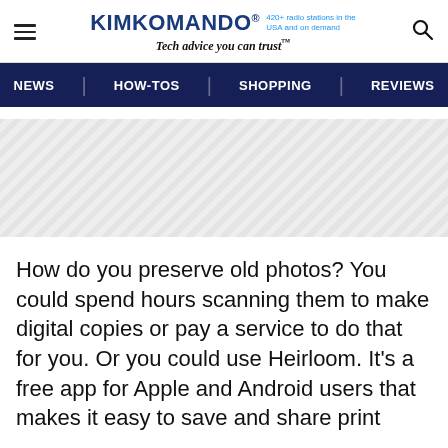KIMKOMANDO® | 420+ radio stations in the USA and on demand | Tech advice you can trust™
NEWS | HOW-TOS | SHOPPING | REVIEWS
[Figure (other): Advertisement placeholder area with diagonal hatching pattern]
How do you preserve old photos? You could spend hours scanning them to make digital copies or pay a service to do that for you. Or you could use Heirloom. It's a free app for Apple and Android users that makes it easy to save and share print